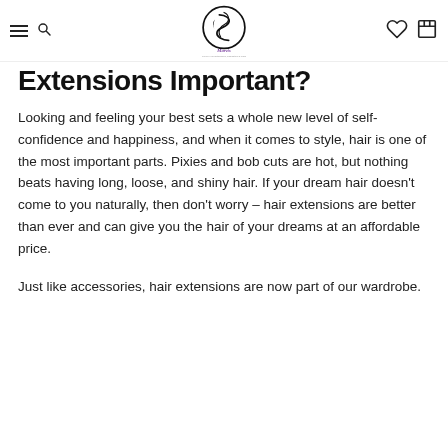[Navigation header with hamburger menu, search icon, Marvis logo, heart icon, and cart icon]
Extensions Important?
Looking and feeling your best sets a whole new level of self-confidence and happiness, and when it comes to style, hair is one of the most important parts. Pixies and bob cuts are hot, but nothing beats having long, loose, and shiny hair. If your dream hair doesn't come to you naturally, then don't worry – hair extensions are better than ever and can give you the hair of your dreams at an affordable price.
Just like accessories, hair extensions are now part of our wardrobe.